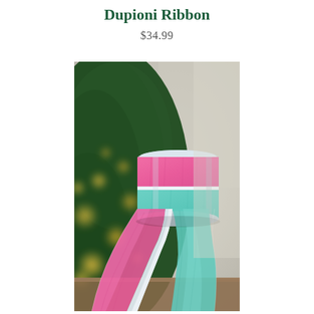Dupioni Ribbon
$34.99
[Figure (photo): A spool of dupioni ribbon with pink and aqua/mint color sections separated by a silver glitter stripe, displayed in front of a blurred Christmas tree with warm bokeh lights in the background.]